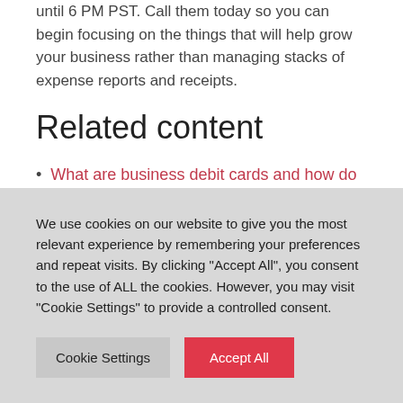until 6 PM PST. Call them today so you can begin focusing on the things that will help grow your business rather than managing stacks of expense reports and receipts.
Related content
What are business debit cards and how do they work?
We use cookies on our website to give you the most relevant experience by remembering your preferences and repeat visits. By clicking "Accept All", you consent to the use of ALL the cookies. However, you may visit "Cookie Settings" to provide a controlled consent.